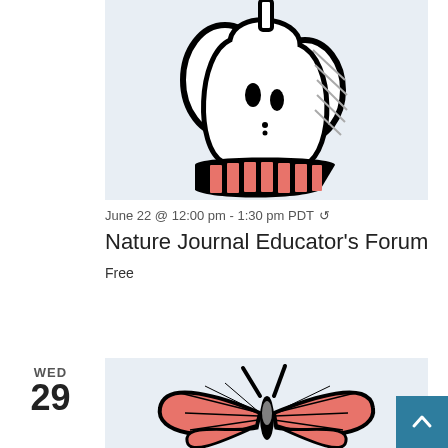[Figure (illustration): Stylized illustration of an apple core with black outline, white/gray interior, and coral/red-pink striped base, on a light blue-gray background]
June 22 @ 12:00 pm - 1:30 pm PDT ↻
Nature Journal Educator's Forum
Free
WED
29
[Figure (illustration): Stylized illustration of a butterfly (swallowtail) with coral/red-pink wings and black outline, on a light blue-gray background]